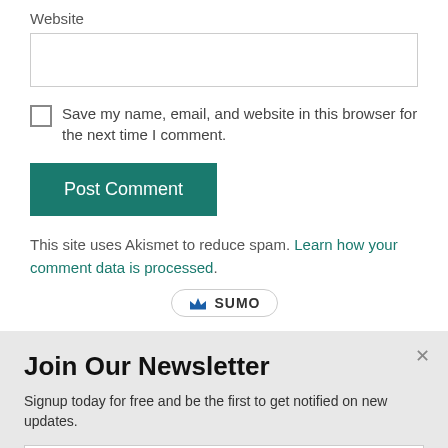Website
[Figure (screenshot): Empty text input box for website URL]
Save my name, email, and website in this browser for the next time I comment.
[Figure (screenshot): Post Comment button with teal background]
This site uses Akismet to reduce spam. Learn how your comment data is processed.
[Figure (logo): Sumo badge/logo in a pill shape]
Join Our Newsletter
Signup today for free and be the first to get notified on new updates.
[Figure (screenshot): Email input field with placeholder text]
[Figure (screenshot): Subscribe Now button with teal background]